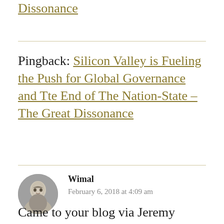Dissonance (link)
Pingback: Silicon Valley is Fueling the Push for Global Governance and Tte End of The Nation-State – The Great Dissonance
Wimal
February 6, 2018 at 4:09 am
Came to your blog via Jeremy